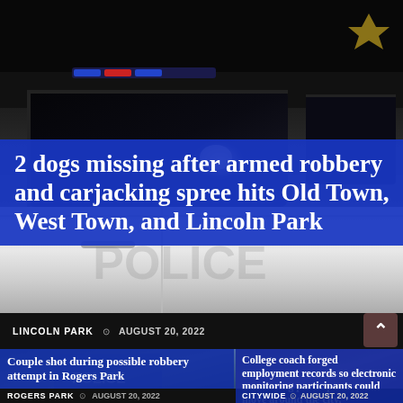[Figure (photo): Close-up photo of a police vehicle at night, dark background with white patrol car visible]
2 dogs missing after armed robbery and carjacking spree hits Old Town, West Town, and Lincoln Park
LINCOLN PARK  ⊙ AUGUST 20, 2022
[Figure (photo): Photo of a person in a police vest with POLICE text visible]
Couple shot during possible robbery attempt in Rogers Park
ROGERS PARK  ⊙ AUGUST 20, 2022
[Figure (photo): Background photo for right article]
College coach forged employment records so electronic monitoring participants could move around the city, prosecutors say
CITYWIDE  ⊙ AUGUST 20, 2022